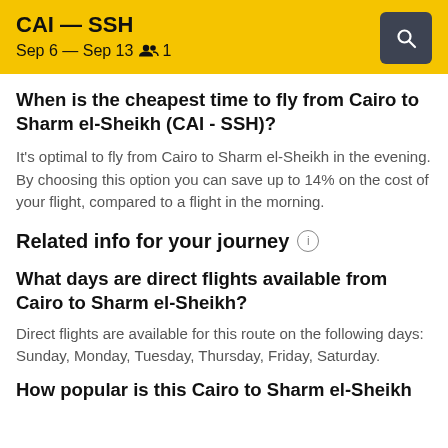CAI — SSH
Sep 6 — Sep 13  👥 1
When is the cheapest time to fly from Cairo to Sharm el-Sheikh (CAI - SSH)?
It's optimal to fly from Cairo to Sharm el-Sheikh in the evening. By choosing this option you can save up to 14% on the cost of your flight, compared to a flight in the morning.
Related info for your journey ℹ
What days are direct flights available from Cairo to Sharm el-Sheikh?
Direct flights are available for this route on the following days: Sunday, Monday, Tuesday, Thursday, Friday, Saturday.
How popular is this Cairo to Sharm el-Sheikh